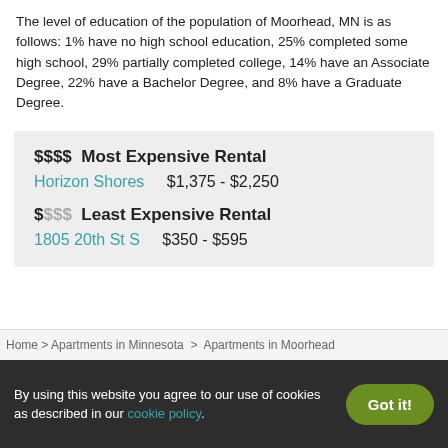The level of education of the population of Moorhead, MN is as follows: 1% have no high school education, 25% completed some high school, 29% partially completed college, 14% have an Associate Degree, 22% have a Bachelor Degree, and 8% have a Graduate Degree.
$$$$ Most Expensive Rental
Horizon Shores    $1,375 - $2,250
$$$$ Least Expensive Rental
1805 20th St S    $350 - $595
Home > Apartments in Minnesota  >  Apartments in Moorhead
By using this website you agree to our use of cookies as described in our cookie policy.